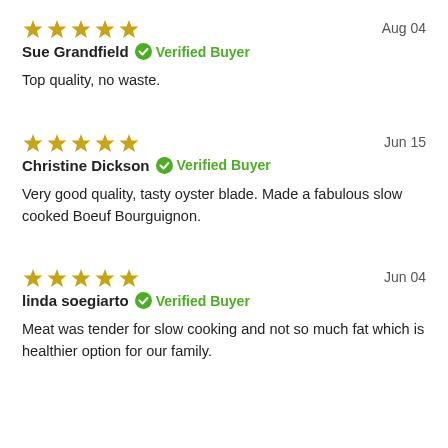[Figure (other): 5 gold stars rating]
Aug 04
Sue Grandfield  Verified Buyer
Top quality, no waste.
[Figure (other): 5 gold stars rating]
Jun 15
Christine Dickson  Verified Buyer
Very good quality, tasty oyster blade. Made a fabulous slow cooked Boeuf Bourguignon.
[Figure (other): 5 gold stars rating]
Jun 04
linda soegiarto  Verified Buyer
Meat was tender for slow cooking and not so much fat which is healthier option for our family.